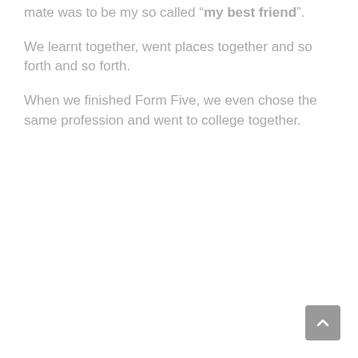mate was to be my so called “my best friend”.
We learnt together, went places together and so forth and so forth.
When we finished Form Five, we even chose the same profession and went to college together.